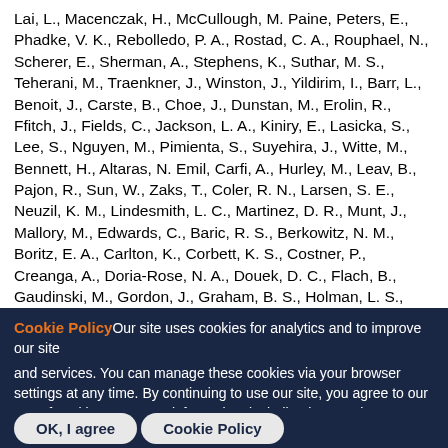Lai, L., Macenczak, H., McCullough, M. Paine, Peters, E., Phadke, V. K., Rebolledo, P. A., Rostad, C. A., Rouphael, N., Scherer, E., Sherman, A., Stephens, K., Suthar, M. S., Teherani, M., Traenkner, J., Winston, J., Yildirim, I., Barr, L., Benoit, J., Carste, B., Choe, J., Dunstan, M., Erolin, R., Ffitch, J., Fields, C., Jackson, L. A., Kiniry, E., Lasicka, S., Lee, S., Nguyen, M., Pimienta, S., Suyehira, J., Witte, M., Bennett, H., Altaras, N. Emil, Carfi, A., Hurley, M., Leav, B., Pajon, R., Sun, W., Zaks, T., Coler, R. N., Larsen, S. E., Neuzil, K. M., Lindesmith, L. C., Martinez, D. R., Munt, J., Mallory, M., Edwards, C., Baric, R. S., Berkowitz, N. M., Boritz, E. A., Carlton, K., Corbett, K. S., Costner, P., Creanga, A., Doria-Rose, N. A., Douek, D. C., Flach, B., Gaudinski, M., Gordon, J., Graham, B. S., Holman, L. S., Ledgerwood, J. E.
Cookie Policy Our site uses cookies for analytics and to improve our site and services. You can manage these cookies via your browser settings at any time. By continuing to use our site, you agree to our use of cookies. For more information, including how to change your settings, see our Cookie Policy.